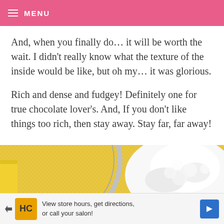MENU
And, when you finally do… it will be worth the wait. I didn't really know what the texture of the inside would be like, but oh my… it was glorious.
Rich and dense and fudgey! Definitely one for true chocolate lover's. And, If you don't like things too rich, then stay away. Stay far, far away!
[Figure (photo): Close-up photo of a sieve/strainer with a pile of white flour, set against a yellow background]
View store hours, get directions, or call your salon!